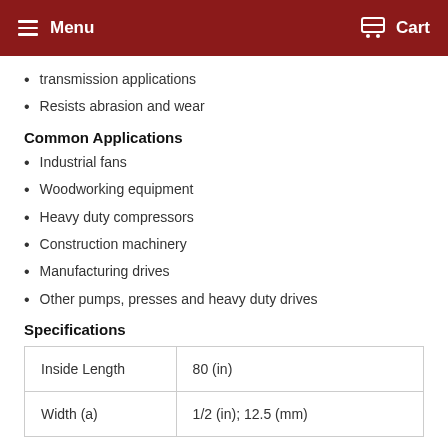Menu  Cart
transmission applications
Resists abrasion and wear
Common Applications
Industrial fans
Woodworking equipment
Heavy duty compressors
Construction machinery
Manufacturing drives
Other pumps, presses and heavy duty drives
Specifications
| Inside Length | Width (a) |
| --- | --- |
| 80 (in) | 1/2 (in); 12.5 (mm) |